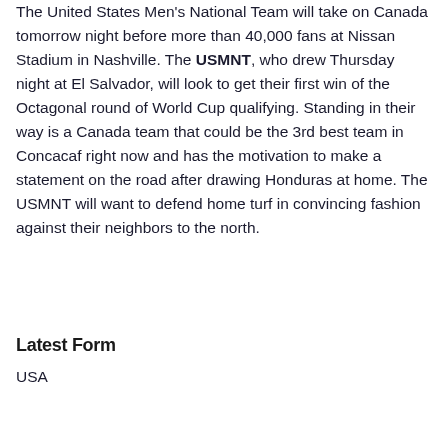The United States Men's National Team will take on Canada tomorrow night before more than 40,000 fans at Nissan Stadium in Nashville. The USMNT, who drew Thursday night at El Salvador, will look to get their first win of the Octagonal round of World Cup qualifying. Standing in their way is a Canada team that could be the 3rd best team in Concacaf right now and has the motivation to make a statement on the road after drawing Honduras at home. The USMNT will want to defend home turf in convincing fashion against their neighbors to the north.
Latest Form
USA